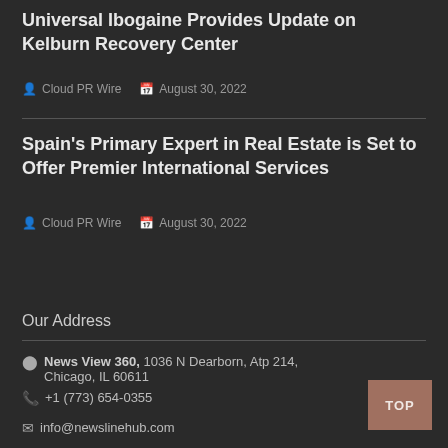Universal Ibogaine Provides Update on Kelburn Recovery Center
Cloud PR Wire  August 30, 2022
Spain's Primary Expert in Real Estate is Set to Offer Premier International Services
Cloud PR Wire  August 30, 2022
Our Address
News View 360, 1036 N Dearborn, Atp 214, Chicago, IL 60611
+1 (773) 654-0355
info@newslinehub.com